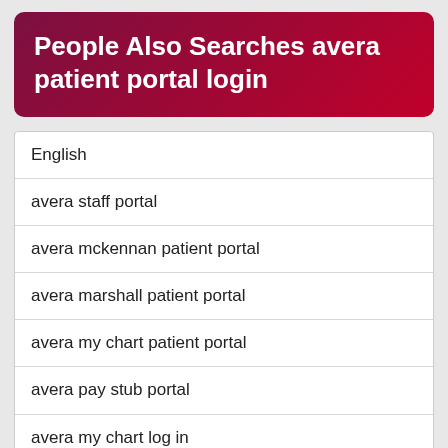People Also Searches avera patient portal login
English
avera staff portal
avera mckennan patient portal
avera marshall patient portal
avera my chart patient portal
avera pay stub portal
avera my chart log in